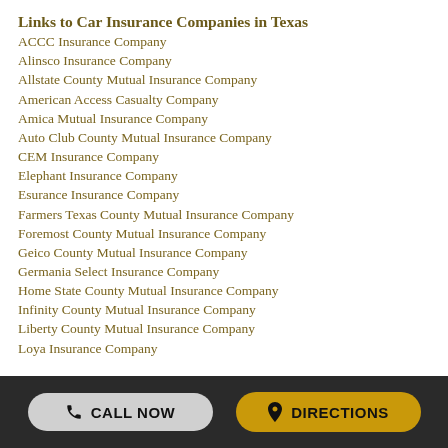Links to Car Insurance Companies in Texas
ACCC Insurance Company
Alinsco Insurance Company
Allstate County Mutual Insurance Company
American Access Casualty Company
Amica Mutual Insurance Company
Auto Club County Mutual Insurance Company
CEM Insurance Company
Elephant Insurance Company
Esurance Insurance Company
Farmers Texas County Mutual Insurance Company
Foremost County Mutual Insurance Company
Geico County Mutual Insurance Company
Germania Select Insurance Company
Home State County Mutual Insurance Company
Infinity County Mutual Insurance Company
Liberty County Mutual Insurance Company
Loya Insurance Company
CALL NOW   DIRECTIONS